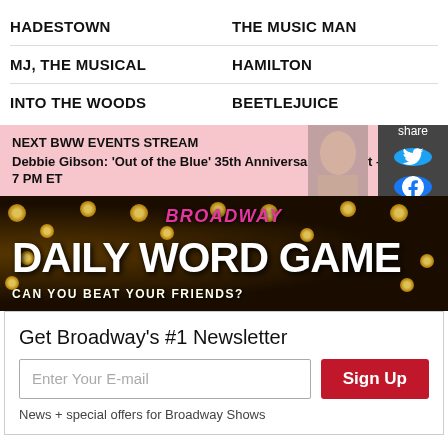HADESTOWN
THE MUSIC MAN
MJ, THE MUSICAL
HAMILTON
INTO THE WOODS
BEETLEJUICE
NEXT BWW EVENTS STREAM
Debbie Gibson: 'Out of the Blue' 35th Anniversary Concert – 8/22
7 PM ET
[Figure (screenshot): Broadway Daily Word Game banner: dark background with golden lights, pink Broadway text, white bold 'DAILY WORD GAME' text, tagline 'CAN YOU BEAT YOUR FRIENDS?']
Get Broadway's #1 Newsletter
Enter Your E-mail
Sign Up
News + special offers for Broadway Shows